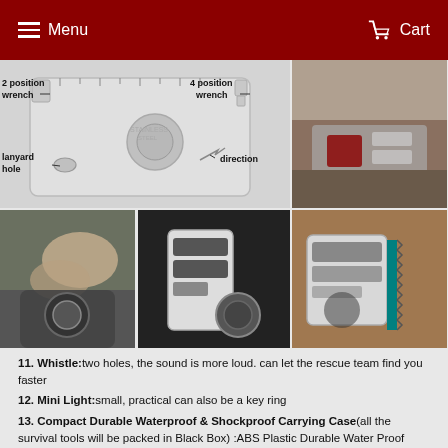Menu  Cart
[Figure (illustration): Multi-tool card diagram showing 2 position wrench, 4 position wrench, lanyard hole, and direction arrow labels on a stainless steel card tool]
[Figure (photo): Close-up photo of multi-tool card being used, showing red and silver surfaces]
[Figure (photo): Hands using multi-tool card on a metal container outdoors]
[Figure (photo): Multi-tool card with opener and key ring attachments shown on dark background]
[Figure (photo): Multi-tool card with saw edge and teal colored accessory on wooden surface]
11. Whistle: two holes, the sound is more loud. can let the rescue team find you faster
12. Mini Light: small, practical can also be a key ring
13. Compact Durable Waterproof & Shockproof Carrying Case(all the survival tools will be packed in Black Box) :ABS Plastic Durable Water Proof Case to keep your items safe from the elements.Designed to fit into most compact spaces for easy access.